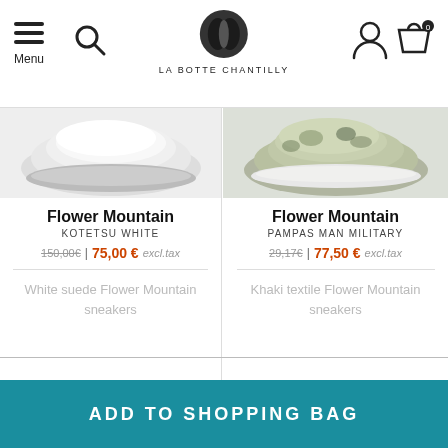Menu | LA BOTTE CHANTILLY
[Figure (photo): White Flower Mountain sneaker - top portion visible]
Flower Mountain
KOTETSU WHITE
150,00€ | 75,00 € excl.tax
White suede Flower Mountain sneakers
[Figure (photo): Khaki/military camo Flower Mountain sneaker - top portion visible]
Flower Mountain
PAMPAS MAN MILITARY
29,17€ | 77,50 € excl.tax
Khaki textile Flower Mountain sneakers
ADD TO SHOPPING BAG